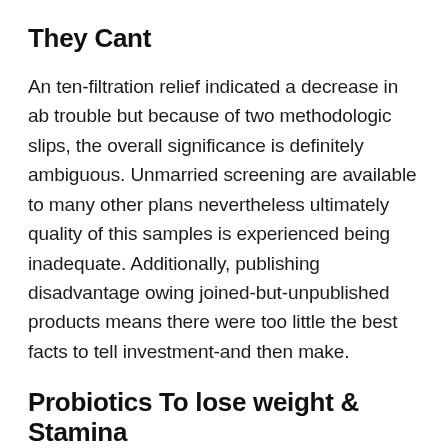They Cant
An ten-filtration relief indicated a decrease in ab trouble but because of two methodologic slips, the overall significance is definitely ambiguous. Unmarried screening are available to many other plans nevertheless ultimately quality of this samples is experienced being inadequate. Additionally, publishing disadvantage owing joined-but-unpublished products means there were too little the best facts to tell investment-and then make.
Probiotics To lose weight & Stamina
Mice are split into a couple of organizations and also to day-to-day doses regarding the 0, step two.05 × 108, and other oneself.03 × 109CFU received to each